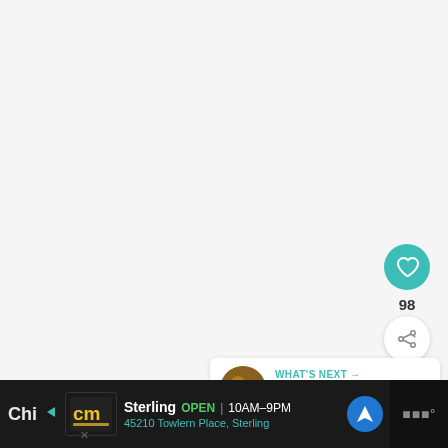[Figure (screenshot): Light gray background area (main content area, largely blank/white)]
[Figure (infographic): Teal circular like button with heart icon, count '98' below, and white circular share/add button]
98
[Figure (infographic): What's Next panel with thumbnail image and text 'WHAT'S NEXT → Pow Wow Calendar...' with watermark logo]
[Figure (infographic): Advertisement bar: CM logo, Sterling OPEN 10AM-9PM, 45210 Towlern Place, Sterling, navigation icon, right logo. Also shows 'Chi' text and X close icon on left.]